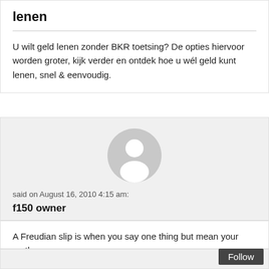lenen
U wilt geld lenen zonder BKR toetsing? De opties hiervoor worden groter, kijk verder en ontdek hoe u wél geld kunt lenen, snel & eenvoudig.
[Figure (illustration): Default user avatar — grey circle with white silhouette of a person inside, on a light grey background.]
said on August 16, 2010 4:15 am:
f150 owner
A Freudian slip is when you say one thing but mean your mother.